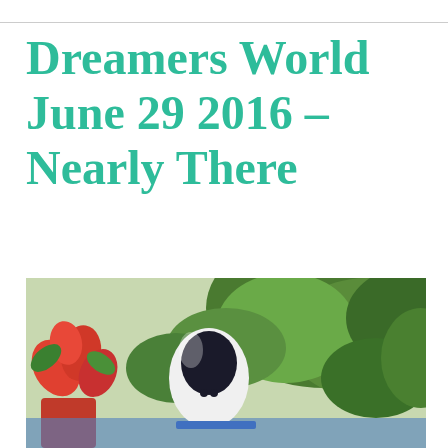Dreamers World June 29 2016 – Nearly There
[Figure (photo): A small white egg-shaped robot or smart device with a dark oval face/sensor, positioned in front of a red flowering plant and green foliage in the background.]